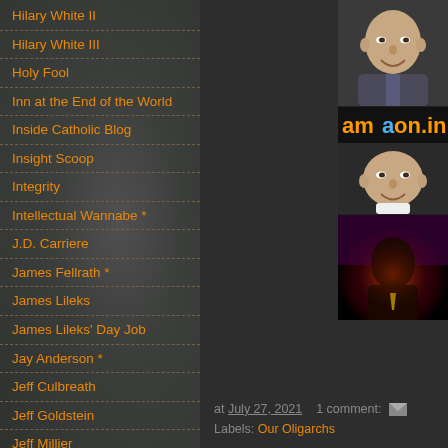Hilary White II
Hilary White III
Holy Fool
Inn at the End of the World
Inside Catholic Blog
Insight Scoop
Integrity
Intellectual Wannabe *
J.D. Carriere
James Fellrath *
James Lileks
James Lileks' Day Job
Jay Anderson *
Jeff Culbreath
Jeff Goldstein
Jeff Millier
Jeffrey Smith--Back to Damerosehay*
Jeffrey Smith-Let
[Figure (photo): Three stacked photos of Jeff Bezos: top photo in suit speaking, middle with Amazon.in banner, bottom with dramatic lighting]
at July 27, 2021   1 comment:
Labels: Our Oligarchs